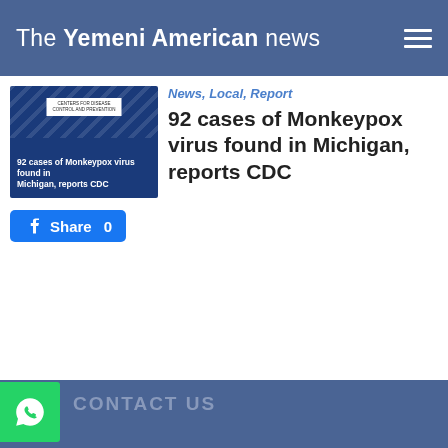The Yemeni American news
News, Local, Report
92 cases of Monkeypox virus found in Michigan, reports CDC
Share 0
CONTACT US
Tweet
313-574-6979
INFO@YEMENIAMERICAN.COM
© 2020 YemeniAmerican.com